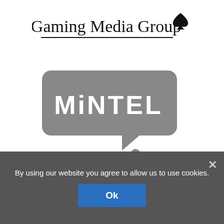[Figure (logo): Gaming Media Group logo with spade card suit icon and underline]
[Figure (logo): Mintel logo - speech bubble shape in gray with MINTEL text and dot tail]
[Figure (logo): BMO Bank of Montreal logo partially visible at bottom]
By using our website you agree to allow us to use cookies.
Ok